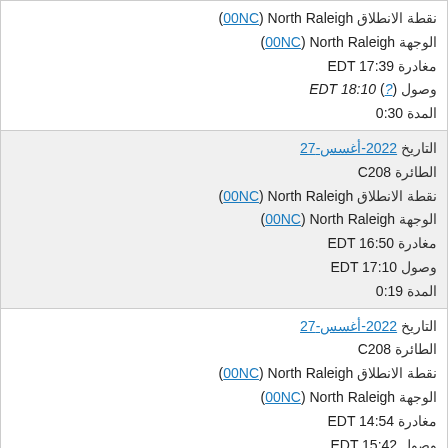نقطة الانطلاق North Raleigh (00NC)
الوجهة North Raleigh (00NC)
مغادرة 17:39 EDT
وصول 18:10 EDT (?)
المدة 0:30
التاريخ 27-أغسس-2022
الطائرة C208
نقطة الانطلاق North Raleigh (00NC)
الوجهة North Raleigh (00NC)
مغادرة 16:50 EDT
وصول 17:10 EDT
المدة 0:19
التاريخ 27-أغسس-2022
الطائرة C208
نقطة الانطلاق North Raleigh (00NC)
الوجهة North Raleigh (00NC)
مغادرة 14:54 EDT
وصول 15:42 EDT
المدة 0:47
التاريخ 27-أغسس-2022